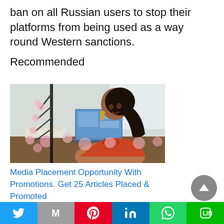ban on all Russian users to stop their platforms from being used as a way round Western sanctions.
Recommended
[Figure (photo): Woman smiling at desk with laptop, wearing orange top, with decorative floral overlay elements]
Media Placement Opportunity With Promotions. Get 25 Articles Placed & Promoted
[Figure (photo): Partial view of electronic device/tablet with red accent]
Share buttons: Twitter, Mail, Pinterest, LinkedIn, WhatsApp, Line